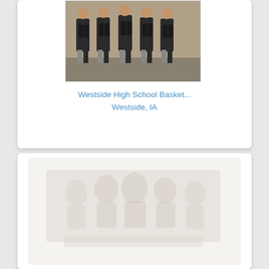[Figure (photo): Vintage black-and-white photograph of Westside High School basketball team players standing in a row with arms crossed, wearing athletic uniforms]
Westside High School Basket...
Westside, IA
[Figure (photo): Partially visible faded/watermarked image, appears to be another historic group photograph, largely washed out and light]